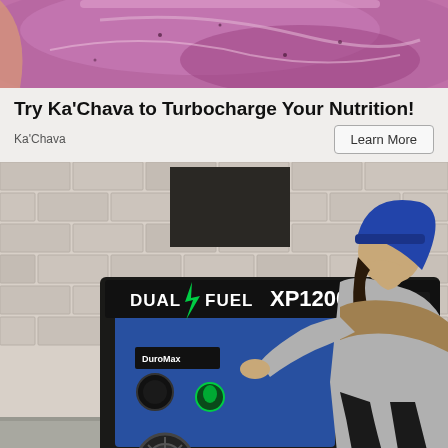[Figure (photo): Top portion of a smoothie/nutrition drink advertisement showing a purple blueberry smoothie in a glass]
Try Ka'Chava to Turbocharge Your Nutrition!
Ka'Chava
[Figure (photo): Advertisement photo of a DuroMax Dual Fuel XP12000HX generator with a woman in a blue beanie and grey coat crouching beside it, outdoors against a brick wall background. Generator shows specs: 12000 peak watts, 11400 running watts, 9500, 9025.]